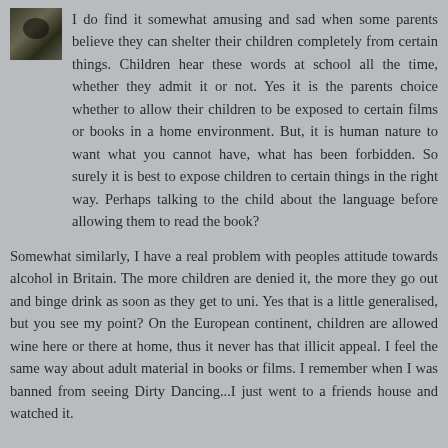[Figure (photo): Small avatar/profile photo thumbnail showing a dark tree or plant silhouette against a lighter background]
I do find it somewhat amusing and sad when some parents believe they can shelter their children completely from certain things. Children hear these words at school all the time, whether they admit it or not. Yes it is the parents choice whether to allow their children to be exposed to certain films or books in a home environment. But, it is human nature to want what you cannot have, what has been forbidden. So surely it is best to expose children to certain things in the right way. Perhaps talking to the child about the language before allowing them to read the book?
Somewhat similarly, I have a real problem with peoples attitude towards alcohol in Britain. The more children are denied it, the more they go out and binge drink as soon as they get to uni. Yes that is a little generalised, but you see my point? On the European continent, children are allowed wine here or there at home, thus it never has that illicit appeal. I feel the same way about adult material in books or films. I remember when I was banned from seeing Dirty Dancing...I just went to a friends house and watched it.